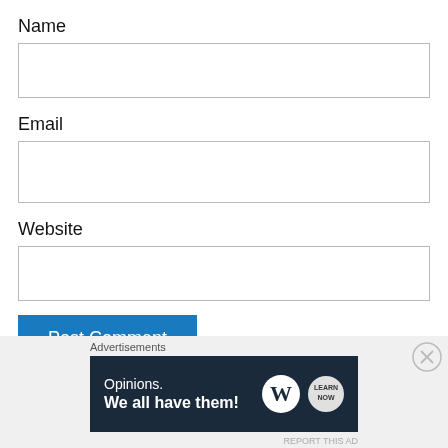Name
[Figure (other): Empty text input field for Name]
Email
[Figure (other): Empty text input field for Email]
Website
[Figure (other): Empty text input field for Website]
[Figure (other): Blue 'Post Comment' button]
Notify me of new comments via email.
Advertisements
[Figure (other): WordPress advertisement banner: 'Opinions. We all have them!' with WordPress and LearnNow logos on dark navy background]